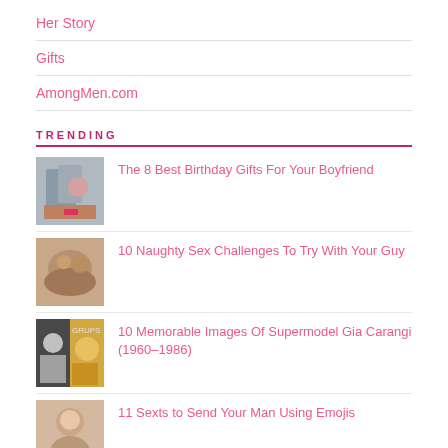Her Story
Gifts
AmongMen.com
TRENDING
The 8 Best Birthday Gifts For Your Boyfriend
10 Naughty Sex Challenges To Try With Your Guy
10 Memorable Images Of Supermodel Gia Carangi (1960–1986)
11 Sexts to Send Your Man Using Emojis